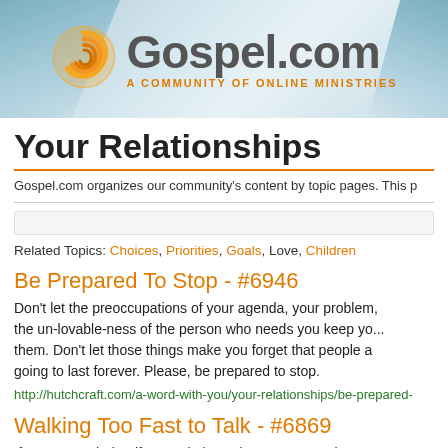[Figure (logo): Gospel.com logo with orange spiral icon and tagline 'A COMMUNITY OF ONLINE MINISTRIES' on a blue-grey banner background]
Your Relationships
Gospel.com organizes our community's content by topic pages. This p
Related Topics: Choices, Priorities, Goals, Love, Children
Be Prepared To Stop - #6946
Don't let the preoccupations of your agenda, your problem, the un-lovable-ness of the person who needs you keep you from them. Don't let those things make you forget that people are going to last forever. Please, be prepared to stop.
http://hutchcraft.com/a-word-with-you/your-relationships/be-prepared-
Walking Too Fast to Talk - #6869
If you're married or if you're in love, the woman you love n When a wo...